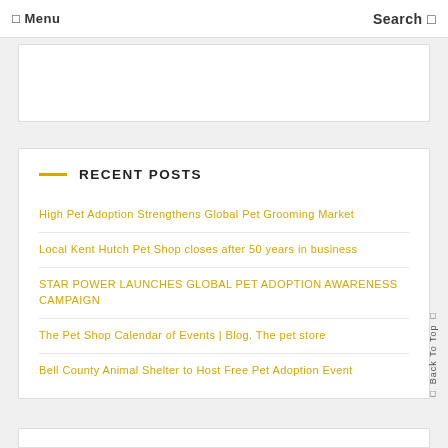☰ Menu    Search 🔍
RECENT POSTS
High Pet Adoption Strengthens Global Pet Grooming Market
Local Kent Hutch Pet Shop closes after 50 years in business
STAR POWER LAUNCHES GLOBAL PET ADOPTION AWARENESS CAMPAIGN
The Pet Shop Calendar of Events | Blog. The pet store
Bell County Animal Shelter to Host Free Pet Adoption Event